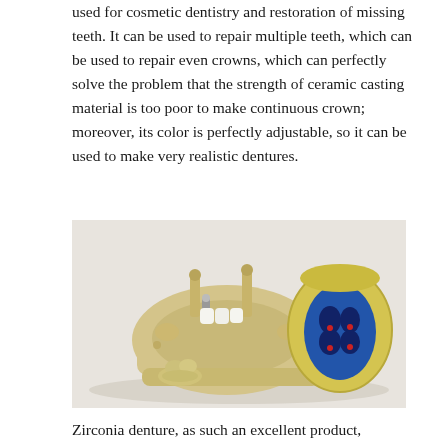used for cosmetic dentistry and restoration of missing teeth. It can be used to repair multiple teeth, which can be used to repair even crowns, which can perfectly solve the problem that the strength of ceramic casting material is too poor to make continuous crown; moreover, its color is perfectly adjustable, so it can be used to make very realistic dentures.
[Figure (photo): Dental model showing a lower jaw impression with implant posts and white crown teeth, alongside a cross-sectional view of a molar mold showing blue interior chambers, and a separate small tooth fragment, all on a light gray surface.]
Zirconia denture, as such an excellent product,